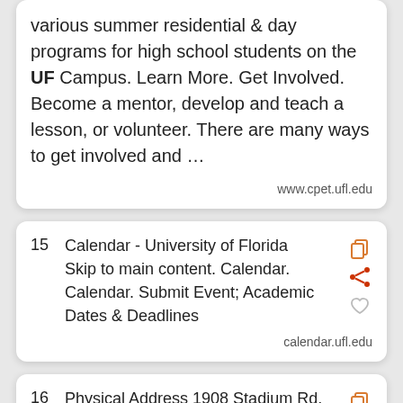various summer residential & day programs for high school students on the <strong>UF</strong> Campus. Learn More. Get Involved. Become a mentor, develop and teach a lesson, or volunteer. There are many ways to get involved and … www.cpet.ufl.edu
15  Calendar - University of Florida  Skip to main content. Calendar. Calendar. Submit Event; Academic Dates & Deadlines  calendar.ufl.edu
16  Physical Address 1908 Stadium Rd, Yon Hall RM249 Gainesville,